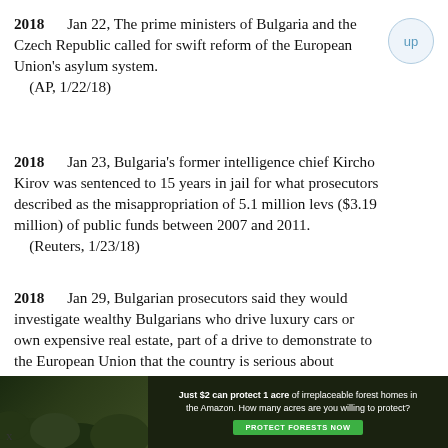2018   Jan 22, The prime ministers of Bulgaria and the Czech Republic called for swift reform of the European Union's asylum system. (AP, 1/22/18)
2018   Jan 23, Bulgaria's former intelligence chief Kircho Kirov was sentenced to 15 years in jail for what prosecutors described as the misappropriation of 5.1 million levs ($3.19 million) of public funds between 2007 and 2011. (Reuters, 1/23/18)
2018   Jan 29, Bulgarian prosecutors said they would investigate wealthy Bulgarians who drive luxury cars or own expensive real estate, part of a drive to demonstrate to the European Union that the country is serious about tackling corruption. (Reuters, 1/29/18)
2018   Jan 29, Conservation group WWF stepped up pressure on Bulgaria to withdraw a
[Figure (infographic): Green forest advertisement banner: 'Just $2 can protect 1 acre of irreplaceable forest homes in the Amazon. How many acres are you willing to protect?' with a green PROTECT FORESTS NOW button, set against a dark forest background image.]